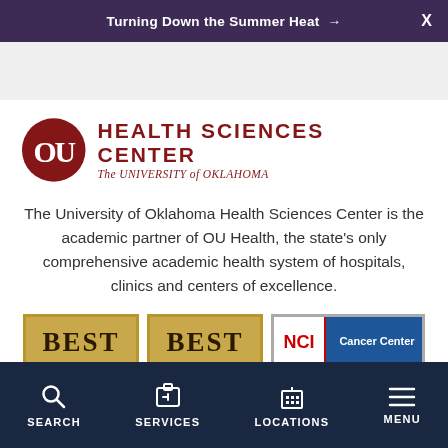Turning Down the Summer Heat →  X
[Figure (logo): OU Health Sciences Center — The University of Oklahoma logo with crimson OU interlocking letters mark and text]
The University of Oklahoma Health Sciences Center is the academic partner of OU Health, the state's only comprehensive academic health system of hospitals, clinics and centers of excellence.
[Figure (infographic): Three award badges: two BEST badges and one NCI Cancer Center badge]
SEARCH  SERVICES  LOCATIONS  MENU